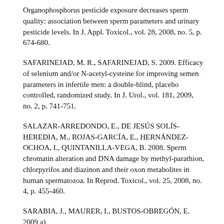Organophosphorus pesticide exposure decreases sperm quality: association between sperm parameters and urinary pesticide levels. In J. Appl. Toxicol., vol. 28, 2008, no. 5, p. 674-680.
SAFARINEJAD, M. R., SAFARINEJAD, S. 2009. Efficacy of selenium and/or N-acetyl-cysteine for improving semen parameters in infertile men: a double-blind, placebo controlled, randomized study. In J. Urol., vol. 181, 2009, no. 2, p. 741-751.
SALAZAR-ARREDONDO, E., DE JESÚS SOLÍS-HEREDIA, M., ROJAS-GARCÍA, E., HERNÁNDEZ-OCHOA, I., QUINTANILLA-VEGA, B. 2008. Sperm chromatin alteration and DNA damage by methyl-parathion, chlorpyrifos and diazinon and their oxon metabolites in human spermatozoa. In Reprod. Toxicol., vol. 25, 2008, no. 4, p. 455-460.
SARABIA, J., MAURER, I., BUSTOS-OBREGÓN, E. 2009 a)